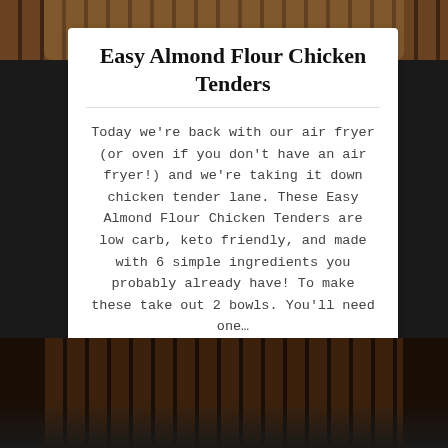[Figure (photo): Top portion of a food photo showing chicken tenders on a wire rack, dark wooden background]
Easy Almond Flour Chicken Tenders
Today we're back with our air fryer (or oven if you don't have an air fryer!) and we're taking it down chicken tender lane. These Easy Almond Flour Chicken Tenders are low carb, keto friendly, and made with 6 simple ingredients you probably already have! To make these take out 2 bowls. You'll need one…
Air Fryer / Appetizer / Chicken / Dinner / Keto / Low Carb / Lunch / Meal Prep / Oven
[Figure (photo): Bottom portion showing chicken tenders on a wire rack over dark background]